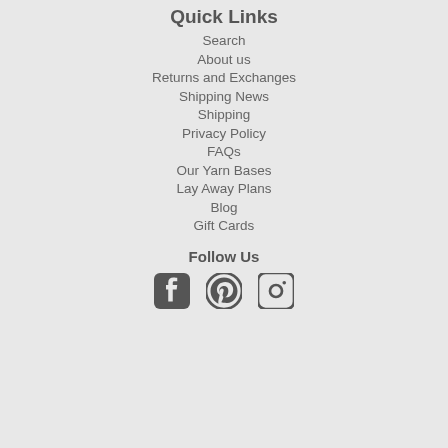Quick Links
Search
About us
Returns and Exchanges
Shipping News
Shipping
Privacy Policy
FAQs
Our Yarn Bases
Lay Away Plans
Blog
Gift Cards
Follow Us
[Figure (illustration): Social media icons: Facebook, Pinterest, Instagram]